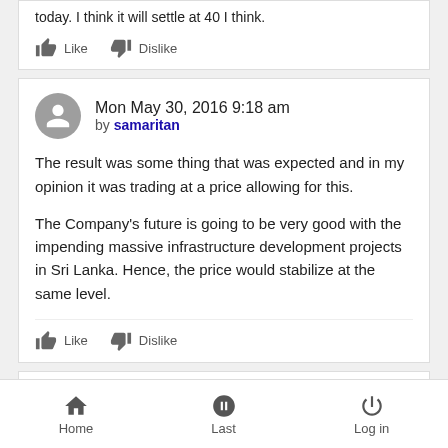today. I think it will settle at 40 I think.
Like  Dislike
Mon May 30, 2016 9:18 am by samaritan
The result was some thing that was expected and in my opinion it was trading at a price allowing for this.

The Company's future is going to be very good with the impending massive infrastructure development projects in Sri Lanka. Hence, the price would stabilize at the same level.
Like  Dislike
Mon May 30, 2016 11:27 am
Home  Last  Log in